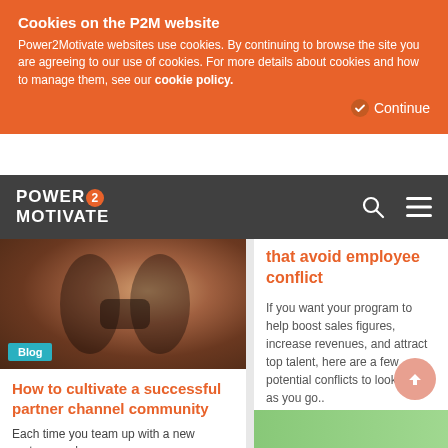Cookies on the P2M website
Power2Motivate websites use cookies. By continuing to browse the site you are agreeing to our use of cookies. For more details about cookies and how to manage them, see our cookie policy.
Continue
[Figure (logo): Power2Motivate logo with navigation search and menu icons on dark grey bar]
[Figure (photo): Photo of two people holding hands, with Blog tag overlay]
How to cultivate a successful partner channel community
Each time you team up with a new partner, you're
that avoid employee conflict
If you want your program to help boost sales figures, increase revenues, and attract top talent, here are a few potential conflicts to look out for as you go..
27.10.2019